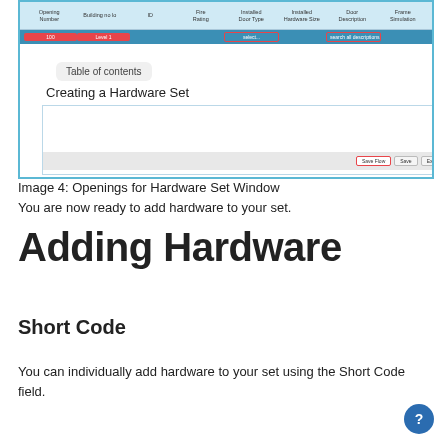[Figure (screenshot): Screenshot of a hardware set window showing a data table with column headers (Opening, Building no, ID, Fire Rating, Installed Door Type, Installed Hardware Size, Door Description, Frame Simulation) and one highlighted row selected in blue, with a table of contents section below showing 'Creating a Hardware Set' entry, and a dialog window with Save Flow, Save, and Exit buttons.]
Image 4: Openings for Hardware Set Window
You are now ready to add hardware to your set.
Adding Hardware
Short Code
You can individually add hardware to your set using the Short Code field.